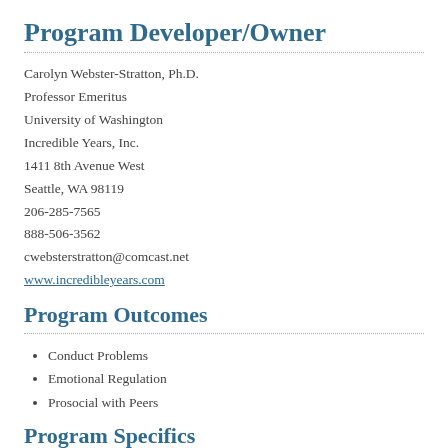Program Developer/Owner
Carolyn Webster-Stratton, Ph.D.
Professor Emeritus
University of Washington
Incredible Years, Inc.
1411 8th Avenue West
Seattle, WA 98119
206-285-7565
888-506-3562
cwebsterstratton@comcast.net
www.incredibleyears.com
Program Outcomes
Conduct Problems
Emotional Regulation
Prosocial with Peers
Program Specifics
Program Type